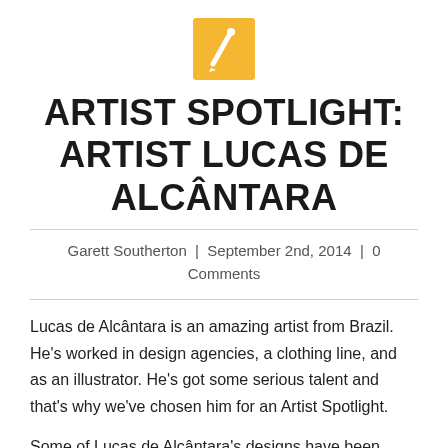[Figure (logo): Golden/yellow square icon with a white paintbrush symbol inside]
ARTIST SPOTLIGHT: ARTIST LUCAS DE ALCÂNTARA
Garett Southerton | September 2nd, 2014 | 0 Comments
Lucas de Alcântara is an amazing artist from Brazil. He's worked in design agencies, a clothing line, and as an illustrator. He's got some serious talent and that's why we've chosen him for an Artist Spotlight.
Some of Lucas de Alcântara's designs have been